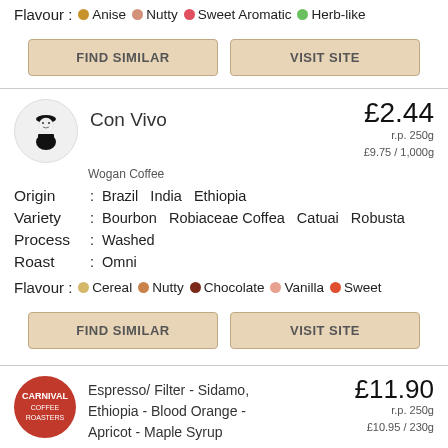Flavour : Anise  Nutty  Sweet Aromatic  Herb-like
FIND SIMILAR  VISIT SITE
Con Vivo
£2.44  r.p. 250g  £9.75 / 1,000g
Wogan Coffee
Origin : Brazil  India  Ethiopia
Variety : Bourbon  Robiaceae Coffea  Catuai  Robusta
Process : Washed
Roast : Omni
Flavour : Cereal  Nutty  Chocolate  Vanilla  Sweet
FIND SIMILAR  VISIT SITE
Espresso/ Filter - Sidamo, Ethiopia - Blood Orange - Apricot - Maple Syrup
£11.90  r.p. 250g  £10.95 / 230g
Carnival